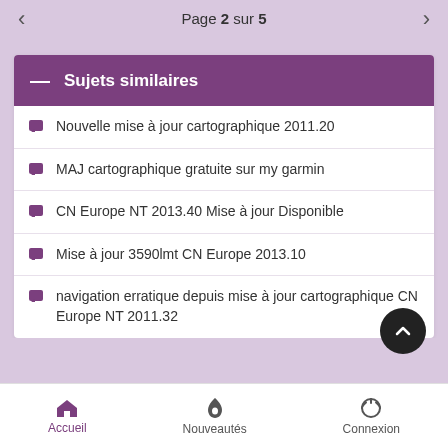Page 2 sur 5
Sujets similaires
Nouvelle mise à jour cartographique 2011.20
MAJ cartographique gratuite sur my garmin
CN Europe NT 2013.40 Mise à jour Disponible
Mise à jour 3590lmt CN Europe 2013.10
navigation erratique depuis mise à jour cartographique CN Europe NT 2011.32
Accueil  Nouveautés  Connexion